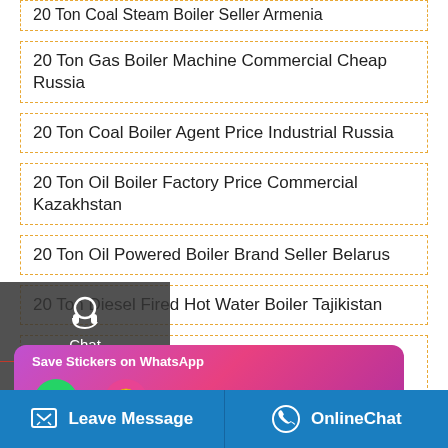20 Ton Coal Steam Boiler Seller Armenia
20 Ton Gas Boiler Machine Commercial Cheap Russia
20 Ton Coal Boiler Agent Price Industrial Russia
20 Ton Oil Boiler Factory Price Commercial Kazakhstan
20 Ton Oil Powered Boiler Brand Seller Belarus
20 Ton Diesel Fired Hot Water Boiler Tajikistan
20 Ton Biomass Boiler High Efficiency Distributor Ukraine
20 Ton Diesel Boiler Industrial Cheap Armenia
20 Ton Coal Boiler Plant Agent Georgia
... Boiler High Efficiency Uzbekistan
[Figure (screenshot): Save Stickers on WhatsApp popup with phone and emoji icons]
[Figure (infographic): Bottom navigation bar with Leave Message and OnlineChat buttons]